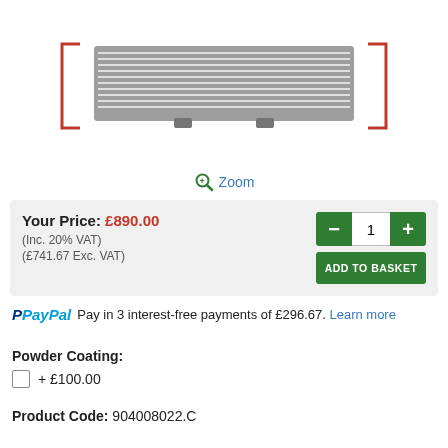[Figure (photo): Product image of an intercooler/radiator unit shown from front, with red bracket markers on left and right sides. Grey fins visible.]
🔍 Zoom
Your Price: £890.00
(Inc. 20% VAT)
(£741.67 Exc. VAT)
− 1 +
ADD TO BASKET
PayPal  Pay in 3 interest-free payments of £296.67. Learn more
Powder Coating:
+ £100.00
Product Code: 904008022.C